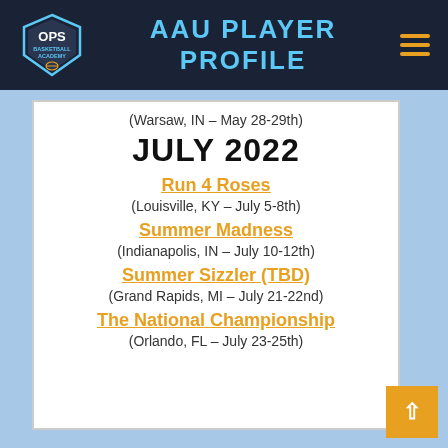AAU PLAYER PROFILE
(Warsaw, IN – May 28-29th)
JULY 2022
Run 4 Roses
(Louisville, KY – July 5-8th)
Summer Madness
(Indianapolis, IN – July 10-12th)
Summer Sizzler (TBD)
(Grand Rapids, MI – July 21-22nd)
The National Championship
(Orlando, FL – July 23-25th)